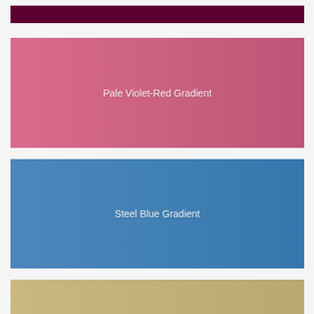[Figure (illustration): Dark crimson/maroon horizontal color band at the top of the page, no label text]
[Figure (illustration): Pale violet-red (pink) horizontal color gradient band with white label text 'Pale Violet-Red Gradient']
[Figure (illustration): Steel blue horizontal color gradient band with white label text 'Steel Blue Gradient']
[Figure (illustration): Tan/khaki horizontal color band at the bottom of the page, partially visible, no label text]